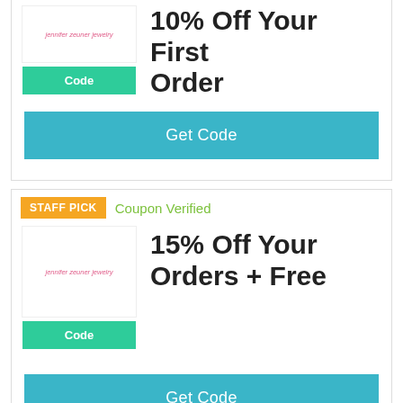[Figure (screenshot): Jennifer Zeuner Jewelry logo in a white box]
Code
10% Off Your First Order
Get Code
STAFF PICK
Coupon Verified
[Figure (screenshot): Jennifer Zeuner Jewelry logo in a white box]
Code
15% Off Your Orders + Free
Get Code